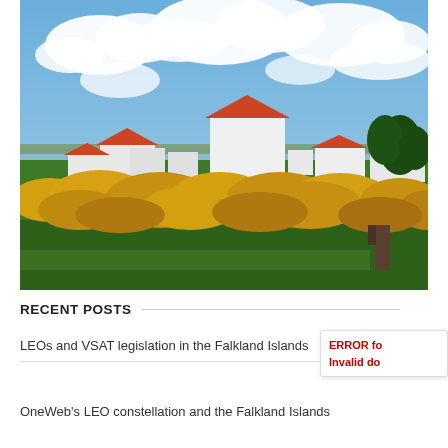[Figure (photo): Landscape photograph of a small settlement in the Falkland Islands. White buildings with red-orange roofs are surrounded by bright yellow gorse bushes. A large white house with an orange roof is prominent in the center. Green grassy fields in the foreground and a water inlet/bay visible in the background under a partly cloudy blue sky.]
RECENT POSTS
LEOs and VSAT legislation in the Falkland Islands
OneWeb's LEO constellation and the Falkland Islands